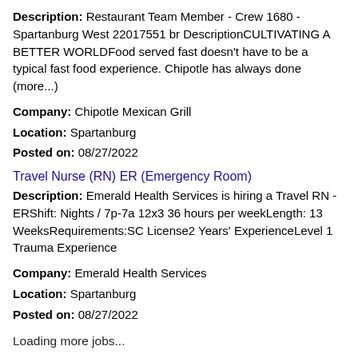Description: Restaurant Team Member - Crew 1680 - Spartanburg West 22017551 br DescriptionCULTIVATING A BETTER WORLDFood served fast doesn't have to be a typical fast food experience. Chipotle has always done (more...)
Company: Chipotle Mexican Grill
Location: Spartanburg
Posted on: 08/27/2022
Travel Nurse (RN) ER (Emergency Room)
Description: Emerald Health Services is hiring a Travel RN - ERShift: Nights / 7p-7a 12x3 36 hours per weekLength: 13 WeeksRequirements:SC License2 Years' ExperienceLevel 1 Trauma Experience
Company: Emerald Health Services
Location: Spartanburg
Posted on: 08/27/2022
Loading more jobs...
Log In or Create An Account
Username: